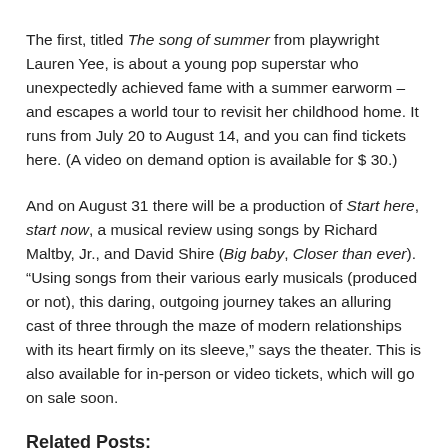The first, titled The song of summer from playwright Lauren Yee, is about a young pop superstar who unexpectedly achieved fame with a summer earworm – and escapes a world tour to revisit her childhood home. It runs from July 20 to August 14, and you can find tickets here. (A video on demand option is available for $ 30.)
And on August 31 there will be a production of Start here, start now, a musical review using songs by Richard Maltby, Jr., and David Shire (Big baby, Closer than ever). “Using songs from their various early musicals (produced or not), this daring, outgoing journey takes an alluring cast of three through the maze of modern relationships with its heart firmly on its sleeve,” says the theater. This is also available for in-person or video tickets, which will go on sale soon.
Related Posts: